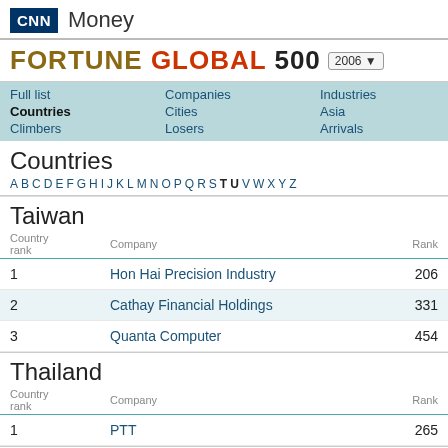CNN Money
FORTUNE GLOBAL 500 2006
Full list | Companies | Industries | CEOs | Countries | Cities | Asia | Europe | Climbers | Losers | Arrivals | Exits
Countries
A B C D E F G H I J K L M N O P Q R S T U V W X Y Z
Taiwan
| Country rank | Company | Rank |
| --- | --- | --- |
| 1 | Hon Hai Precision Industry | 206 |
| 2 | Cathay Financial Holdings | 331 |
| 3 | Quanta Computer | 454 |
Thailand
| Country rank | Company | Rank |
| --- | --- | --- |
| 1 | PTT | 265 |